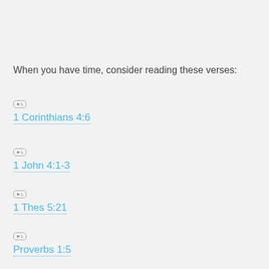When you have time, consider reading these verses:
1 Corinthians 4:6
1 John 4:1-3
1 Thes 5:21
Proverbs 1:5